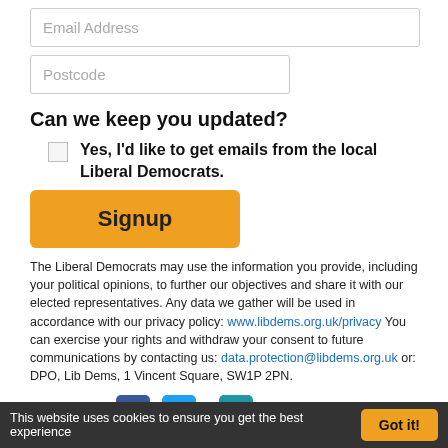Email Address
Postcode
Can we keep you updated?
Yes, I'd like to get emails from the local Liberal Democrats.
[Figure (other): Orange Signup button]
The Liberal Democrats may use the information you provide, including your political opinions, to further our objectives and share it with our elected representatives. Any data we gather will be used in accordance with our privacy policy: www.libdems.org.uk/privacy You can exercise your rights and withdraw your consent to future communications by contacting us: data.protection@libdems.org.uk or: DPO, Lib Dems, 1 Vincent Square, SW1P 2PN.
Sign in with [Facebook] , [Twitter] or [Email] .
This website uses cookies to ensure you get the best experience   Got it!